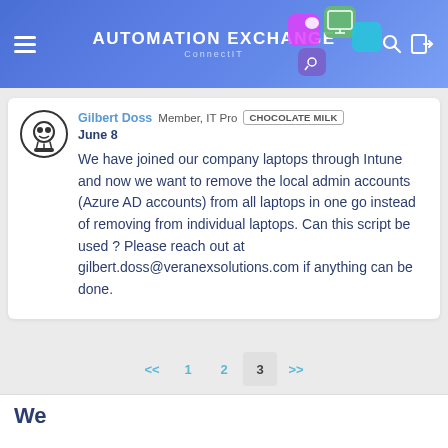AUTOMATION EXCHANGE ConnectIT
Gilbert Doss  Member, IT Pro  CHOCOLATE MILK
June 8

We have joined our company laptops through Intune and now we want to remove the local admin accounts (Azure AD accounts) from all laptops in one go instead of removing from individual laptops. Can this script be used ? Please reach out at gilbert.doss@veranexsolutions.com if anything can be done.
<< 1 2 3 >>
We